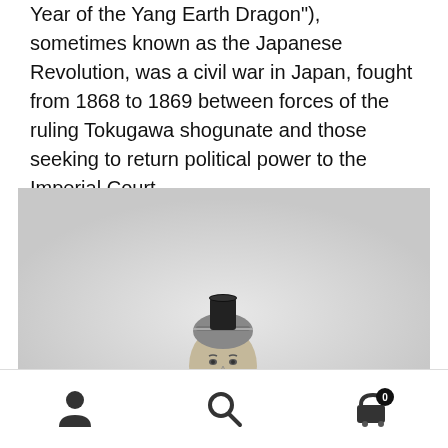Year of the Yang Earth Dragon"), sometimes known as the Japanese Revolution, was a civil war in Japan, fought from 1868 to 1869 between forces of the ruling Tokugawa shogunate and those seeking to return political power to the Imperial Court.
[Figure (photo): Black and white photograph of a person's head wearing a traditional Japanese hairstyle with a black cylindrical hat on top, shown from the shoulders up against a light grey background.]
Navigation bar with user account icon, search icon, and shopping cart icon with badge showing 0